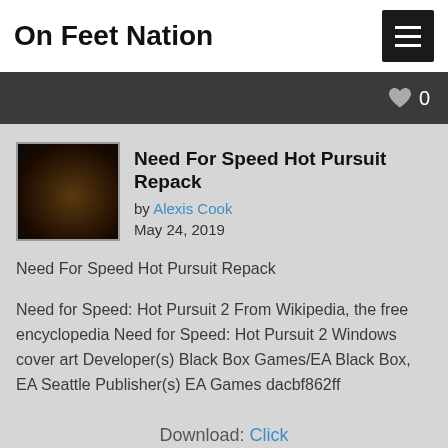On Feet Nation
Need For Speed Hot Pursuit Repack
by Alexis Cook
May 24, 2019
Need For Speed Hot Pursuit Repack
Need for Speed: Hot Pursuit 2 From Wikipedia, the free encyclopedia Need for Speed: Hot Pursuit 2 Windows cover art Developer(s) Black Box Games/EA Black Box, EA Seattle Publisher(s) EA Games dacbf862ff
Download: Click